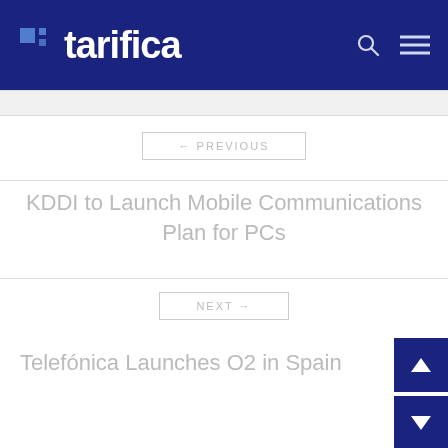tarifica
← PREVIOUS
KDDI to Launch Mobile Communications Plan for PCs
NEXT →
Telefónica Launches O2 in Spain